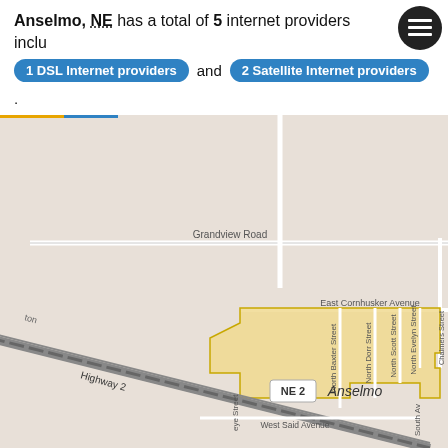Anselmo, NE has a total of 5 internet providers including 1 DSL Internet providers and 2 Satellite Internet providers.
[Figure (map): Street map of Anselmo, NE showing DSL internet coverage area highlighted in yellow/tan. Map shows streets including Grandview Road, East Cornhusker Avenue, North Baxter Street, North Dorr Street, North Scott Street, North Evelyn Street, West Said Avenue, Highway 2, NE 2 route. The town of Anselmo is labeled in the center of the highlighted area.]